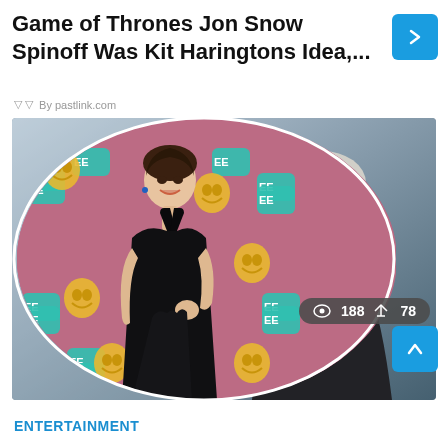Game of Thrones Jon Snow Spinoff Was Kit Haringtons Idea,...
By pastlink.com
[Figure (photo): Split composite image: left side shows a woman in a black dress at a BAFTA red carpet event (circular crop), right side shows a woman with white/silver hair in a dark costume from what appears to be a TV show]
188  78
ENTERTAINMENT